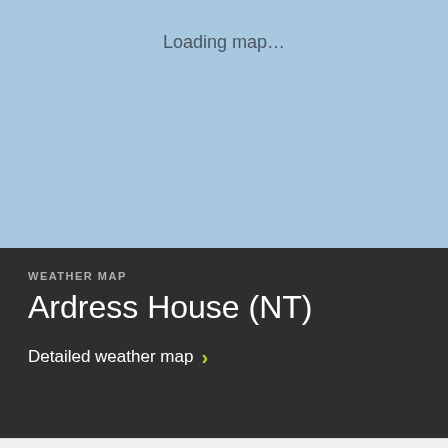[Figure (map): Light blue map loading placeholder area with 'Loading map...' text centered near the top]
Loading map...
WEATHER MAP
Ardress House (NT)
Detailed weather map >